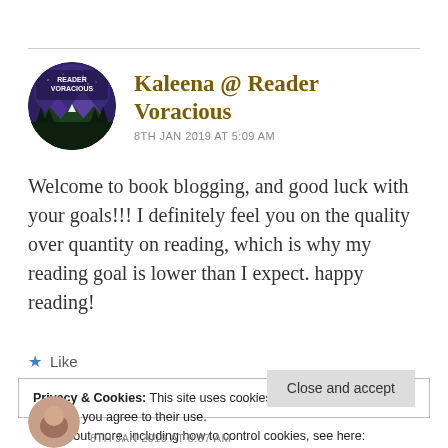[Figure (logo): Reader Voracious circular avatar logo with mountain/forest/night sky illustration]
Kaleena @ Reader Voracious
8TH JAN 2019 AT 5:09 AM
Welcome to book blogging, and good luck with your goals!!! I definitely feel you on the quality over quantity on reading, which is why my reading goal is lower than I expect. happy reading!
★ Like
Privacy & Cookies: This site uses cookies. By continuing to use this website, you agree to their use.
To find out more, including how to control cookies, see here:
Cookie Policy
Close and accept
[Figure (photo): Partial circular avatar at bottom of page]
8TH JAN 2019 AT 8:37 AM